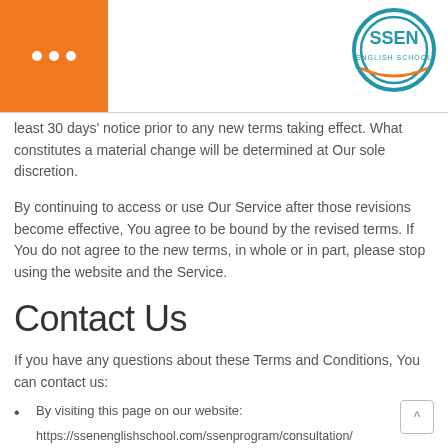SSEN English School logo header with orange box and ellipsis
least 30 days' notice prior to any new terms taking effect. What constitutes a material change will be determined at Our sole discretion.
By continuing to access or use Our Service after those revisions become effective, You agree to be bound by the revised terms. If You do not agree to the new terms, in whole or in part, please stop using the website and the Service.
Contact Us
If you have any questions about these Terms and Conditions, You can contact us:
By visiting this page on our website:
https://ssenenglishschool.com/ssenprogram/consultation/
최근 대금